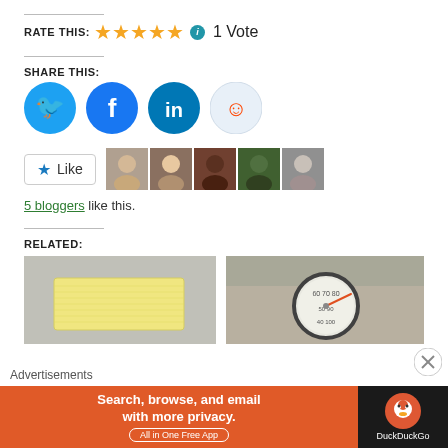RATE THIS: ★★★★★ ℹ 1 Vote
SHARE THIS:
[Figure (infographic): Social share buttons: Twitter (blue bird), Facebook (blue f), LinkedIn (blue in), Reddit (light blue alien)]
[Figure (infographic): Like button and 5 blogger avatar thumbnails]
5 bloggers like this.
RELATED:
[Figure (photo): A block of butter on a gray surface]
[Figure (photo): A cooking thermometer dial close-up in a silver pot]
Advertisements
[Figure (screenshot): DuckDuckGo ad banner: Search, browse, and email with more privacy. All in One Free App]